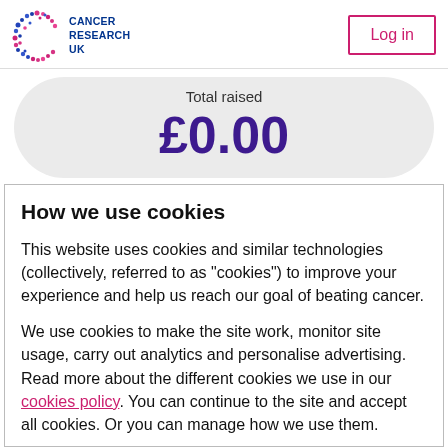[Figure (logo): Cancer Research UK logo — colorful dot-pattern C shape with 'Cancer Research UK' text in dark blue]
Log in
Total raised
£0.00
How we use cookies
This website uses cookies and similar technologies (collectively, referred to as "cookies") to improve your experience and help us reach our goal of beating cancer.
We use cookies to make the site work, monitor site usage, carry out analytics and personalise advertising. Read more about the different cookies we use in our cookies policy. You can continue to the site and accept all cookies. Or you can manage how we use them.